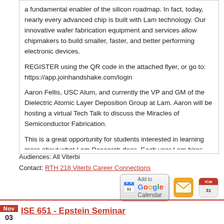a fundamental enabler of the silicon roadmap. In fact, today, nearly every advanced chip is built with Lam technology. Our innovative wafer fabrication equipment and services allow chipmakers to build smaller, faster, and better performing electronic devices.

REGISTER using the QR code in the attached flyer, or go to: https://app.joinhandshake.com/login

Aaron Fellis, USC Alum, and currently the VP and GM of the Dielectric Atomic Layer Deposition Group at Lam. Aaron will be hosting a virtual Tech Talk to discuss the Miracles of Semiconductor Fabrication.

This is a great opportunity for students interested in learning more about what Lam Research does. Each year Lam hires 100+ New College Grads and has 100+ internship opportunities at the Bachelor's, Master's and PhD levels.
Audiences: All Viterbi
Contact: RTH 218 Viterbi Career Connections
[Figure (other): Add to Google Calendar button, email icon, and iCal icon]
ISE 651 - Epstein Seminar